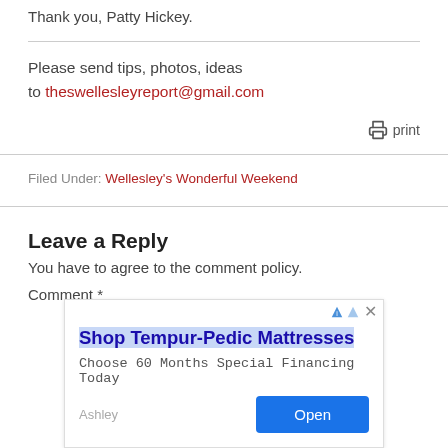Thank you, Patty Hickey.
Please send tips, photos, ideas to theswellesleyreport@gmail.com
print
Filed Under: Wellesley's Wonderful Weekend
Leave a Reply
You have to agree to the comment policy.
Comment *
[Figure (screenshot): Advertisement for Shop Tempur-Pedic Mattresses with 'Choose 60 Months Special Financing Today' text, an Open button, and AdChoices/close icons.]